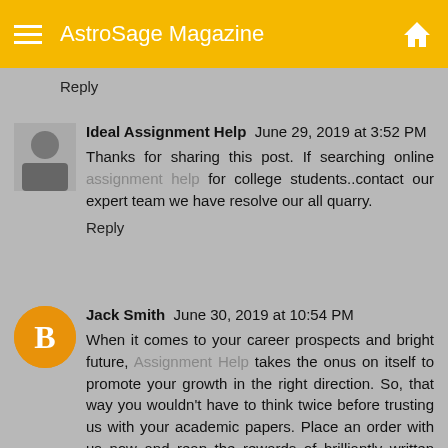AstroSage Magazine
Reply
Ideal Assignment Help  June 29, 2019 at 3:52 PM
Thanks for sharing this post. If searching online assignment help for college students..contact our expert team we have resolve our all quarry.
Reply
Jack Smith  June 30, 2019 at 10:54 PM
When it comes to your career prospects and bright future, Assignment Help takes the onus on itself to promote your growth in the right direction. So, that way you wouldn't have to think twice before trusting us with your academic papers. Place an order with us now and reap the rewards of brilliantly written academic papers today. My CDR Report Writer, one of the leading academic solution providers in